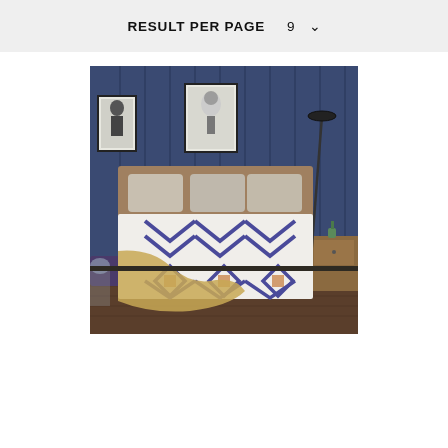RESULT PER PAGE   9   ▾
[Figure (photo): Bedroom scene with a bed dressed in white geometric-patterned bedding featuring blue diamond and chevron designs, gray pillows, a tan throw blanket. Blue paneled wall with framed artwork in background, floor lamp, wooden nightstand.]